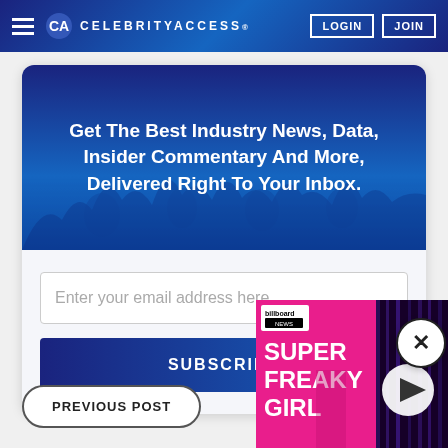CELEBRITYACCESS
Get The Best Industry News, Data, Insider Commentary And More, Delivered Right To Your Inbox.
Enter your email address here...
SUBSCRIBE
PREVIOUS POST
[Figure (screenshot): Billboard News video thumbnail showing 'SUPER FREAKY GIRL' with a play button]